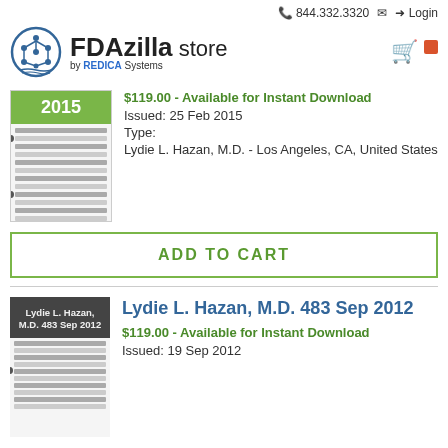📞 844.332.3320  ✉  → Login
[Figure (logo): FDAzilla store by REDICA Systems logo with circular tree/network emblem]
[Figure (illustration): Thumbnail of a 2015 FDA document with green header]
$119.00 - Available for Instant Download
Issued: 25 Feb 2015
Type:
Lydie L. Hazan, M.D. - Los Angeles, CA, United States
ADD TO CART
[Figure (illustration): Thumbnail of Lydie L. Hazan M.D. 483 Sep 2012 FDA document with dark cover]
Lydie L. Hazan, M.D. 483 Sep 2012
$119.00 - Available for Instant Download
Issued: 19 Sep 2012